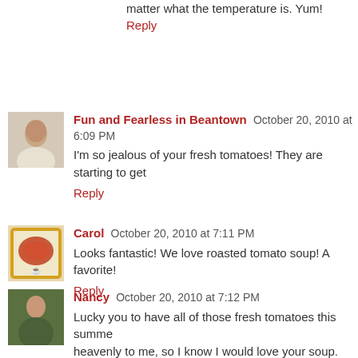matter what the temperature is. Yum!
Reply
Fun and Fearless in Beantown  October 20, 2010 at 6:09 PM
I'm so jealous of your fresh tomatoes! They are starting to get
Reply
Carol  October 20, 2010 at 7:11 PM
Looks fantastic! We love roasted tomato soup! A favorite!
Reply
Nancy  October 20, 2010 at 7:12 PM
Lucky you to have all of those fresh tomatoes this summe heavenly to me, so I know I would love your soup.
Reply